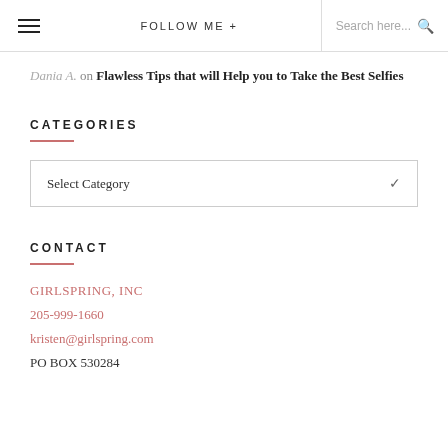≡   FOLLOW ME +   Search here...  🔍
Dania A. on Flawless Tips that will Help you to Take the Best Selfies
CATEGORIES
Select Category
CONTACT
GIRLSPRING, INC
205-999-1660
kristen@girlspring.com
PO BOX 530284